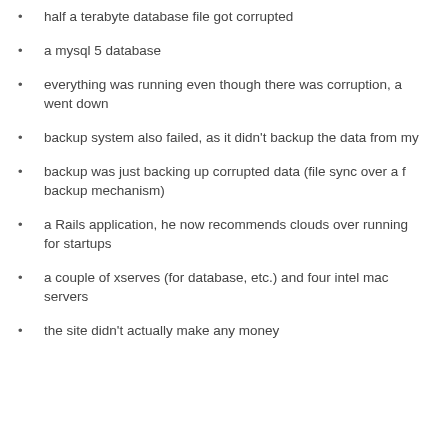half a terabyte database file got corrupted
a mysql 5 database
everything was running even though there was corruption, a went down
backup system also failed, as it didn't backup the data from my
backup was just backing up corrupted data (file sync over a f backup mechanism)
a Rails application, he now recommends clouds over running for startups
a couple of xserves (for database, etc.) and four intel mac servers
the site didn't actually make any money